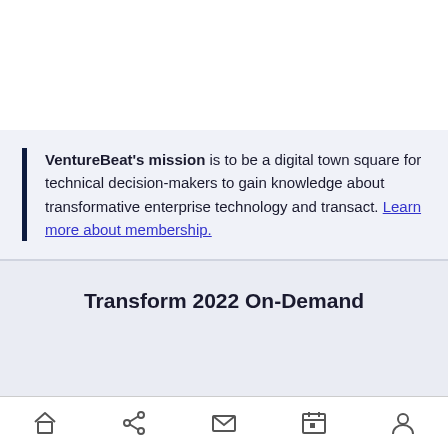VentureBeat's mission is to be a digital town square for technical decision-makers to gain knowledge about transformative enterprise technology and transact. Learn more about membership.
Transform 2022 On-Demand